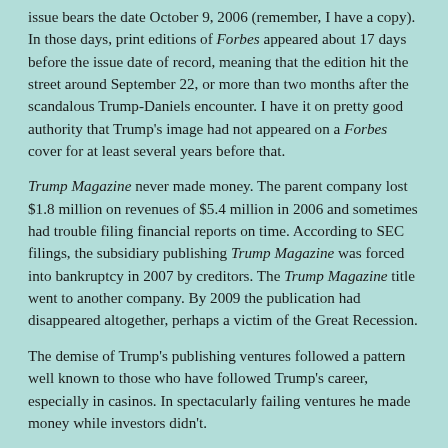issue bears the date October 9, 2006 (remember, I have a copy). In those days, print editions of Forbes appeared about 17 days before the issue date of record, meaning that the edition hit the street around September 22, or more than two months after the scandalous Trump-Daniels encounter. I have it on pretty good authority that Trump's image had not appeared on a Forbes cover for at least several years before that.
Trump Magazine never made money. The parent company lost $1.8 million on revenues of $5.4 million in 2006 and sometimes had trouble filing financial reports on time. According to SEC filings, the subsidiary publishing Trump Magazine was forced into bankruptcy in 2007 by creditors. The Trump Magazine title went to another company. By 2009 the publication had disappeared altogether, perhaps a victim of the Great Recession.
The demise of Trump's publishing ventures followed a pattern well known to those who have followed Trump's career, especially in casinos. In spectacularly failing ventures he made money while investors didn't.
As for Ebay, I originally listed the Forbes issue for auction sale in late January–carefully sourcing Mother Jones–for $1,000. I got an offer for that amount from someone listing a Bellingham, Wash., address. But after the auction closed, I received no responses to